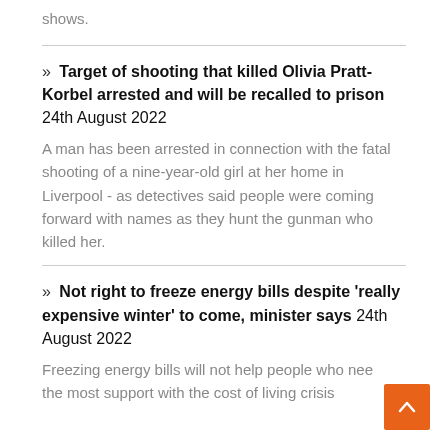shows.
» Target of shooting that killed Olivia Pratt-Korbel arrested and will be recalled to prison 24th August 2022
A man has been arrested in connection with the fatal shooting of a nine-year-old girl at her home in Liverpool - as detectives said people were coming forward with names as they hunt the gunman who killed her.
» Not right to freeze energy bills despite 'really expensive winter' to come, minister says 24th August 2022
Freezing energy bills will not help people who need the most support with the cost of living crisis